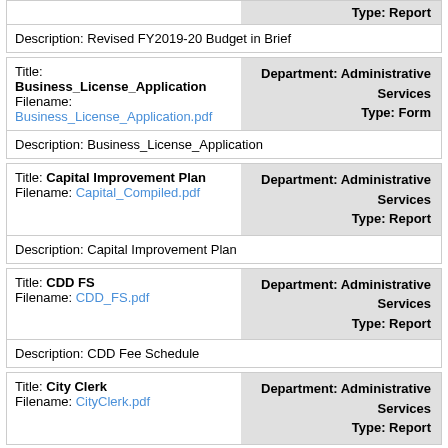|  | Type: Report |
| Description: Revised FY2019-20 Budget in Brief |  |
| Title: Business_License_Application
Filename: Business_License_Application.pdf | Department: Administrative Services
Type: Form |
| Description: Business_License_Application |  |
| Title: Capital Improvement Plan
Filename: Capital_Compiled.pdf | Department: Administrative Services
Type: Report |
| Description: Capital Improvement Plan |  |
| Title: CDD FS
Filename: CDD_FS.pdf | Department: Administrative Services
Type: Report |
| Description: CDD Fee Schedule |  |
| Title: City Clerk
Filename: CityClerk.pdf | Department: Administrative Services
Type: Report |